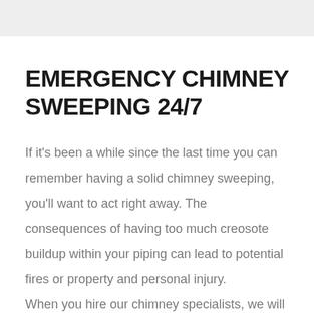EMERGENCY CHIMNEY SWEEPING 24/7
If it's been a while since the last time you can remember having a solid chimney sweeping, you'll want to act right away. The consequences of having too much creosote buildup within your piping can lead to potential fires or property and personal injury. When you hire our chimney specialists, we will help